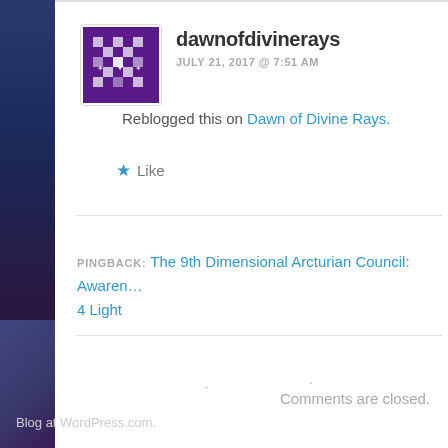dawnofdivinerays
JULY 21, 2017 @ 7:51 AM
Reblogged this on Dawn of Divine Rays.
Like
PINGBACK: The 9th Dimensional Arcturian Council: Awaren… 4 Light
Comments are closed.
Blog at WordPress.com.